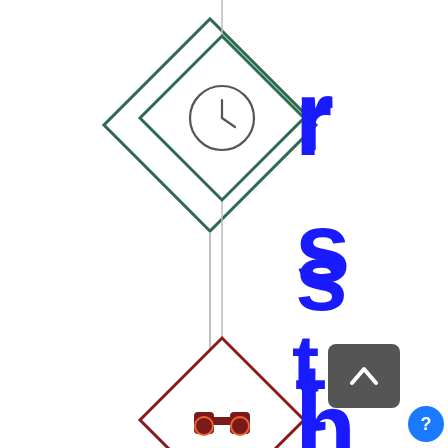[Figure (flowchart): A partial flowchart showing two diamond-shaped decision nodes connected by a vertical line. The top diamond contains a clock icon (dark green border) with a vertical line descending to a second diamond (dark red border) containing a binoculars icon, partially visible at the bottom. Blue bold text labels are visible to the right, partially cut off, showing letters: r, s, t, f, e, h in large bold blue font, reading vertically.]